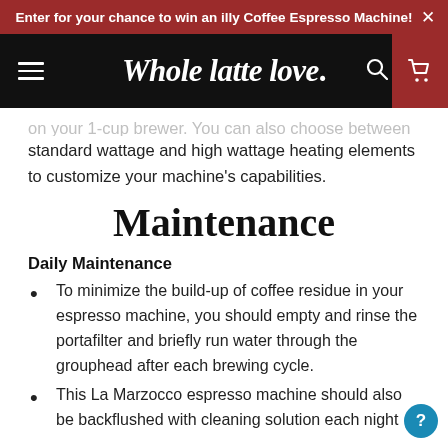Enter for your chance to win an illy Coffee Espresso Machine!
[Figure (logo): Whole latte love. logo with hamburger menu, search icon, and cart icon on black navigation bar]
on your 1-cup brewer. You can also choose between standard wattage and high wattage heating elements to customize your machine's capabilities.
Maintenance
Daily Maintenance
To minimize the build-up of coffee residue in your espresso machine, you should empty and rinse the portafilter and briefly run water through the grouphead after each brewing cycle.
This La Marzocco espresso machine should also be backflushed with cleaning solution each night